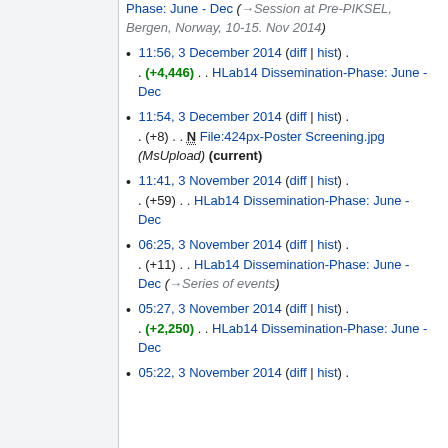Phase: June - Dec (→Session at Pre-PIKSEL, Bergen, Norway, 10-15. Nov 2014)
11:56, 3 December 2014 (diff | hist) . . (+4,446) . . HLab14 Dissemination-Phase: June - Dec
11:54, 3 December 2014 (diff | hist) . . (+8) . . N File:424px-Poster Screening.jpg (MsUpload) (current)
11:41, 3 November 2014 (diff | hist) . . (+59) . . HLab14 Dissemination-Phase: June - Dec
06:25, 3 November 2014 (diff | hist) . . (+11) . . HLab14 Dissemination-Phase: June - Dec (→Series of events)
05:27, 3 November 2014 (diff | hist) . . (+2,250) . . HLab14 Dissemination-Phase: June - Dec
05:22, 3 November 2014 (diff | hist) .